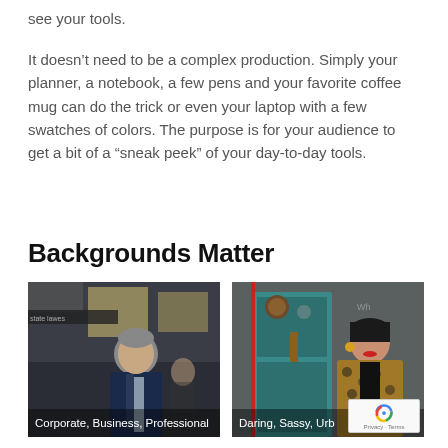see your tools.
It doesn’t need to be a complex production. Simply your planner, a notebook, a few pens and your favorite coffee mug can do the trick or even your laptop with a few swatches of colors. The purpose is for your audience to get a bit of a “sneak peek” of your day-to-day tools.
Backgrounds Matter
[Figure (photo): Man in dark suit standing in front of a corporate building. Caption: Corporate, Business, Professional]
[Figure (photo): Woman in leopard print coat standing in front of a teal door. Caption: Daring, Sassy, Urb...]